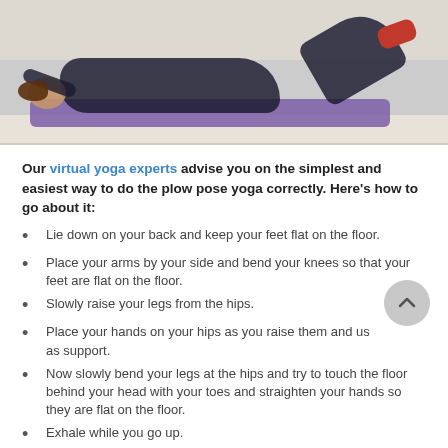[Figure (photo): Woman lying on a purple yoga mat on a light floor, performing a yoga pose with legs raised, wearing dark clothes and red shoes, white wall in background.]
Our virtual yoga experts advise you on the simplest and easiest way to do the plow pose yoga correctly. Here’s how to go about it:
Lie down on your back and keep your feet flat on the floor.
Place your arms by your side and bend your knees so that your feet are flat on the floor.
Slowly raise your legs from the hips.
Place your hands on your hips as you raise them and use as support.
Now slowly bend your legs at the hips and try to touch the floor behind your head with your toes and straighten your hands so they are flat on the floor.
Exhale while you go up.
To return to the lying position, gently roll your back onto the